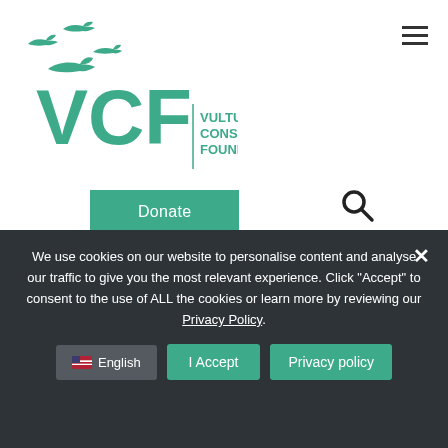[Figure (logo): Vulture Conservation Foundation logo with VCF letters and flying vultures silhouettes in teal/green color]
May 7, 2020
Electrocution poses a significant threat to vultures and other birds, but it ...
Read More →
We use cookies on our website to personalise content and analyse our traffic to give you the most relevant experience. Click "Accept" to consent to the use of ALL the cookies or learn more by reviewing our Privacy Policy.